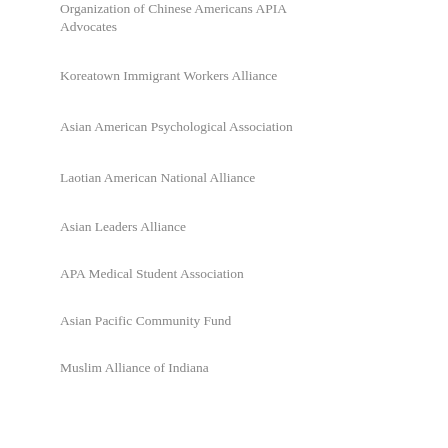Organization of Chinese Americans APIA Advocates
Koreatown Immigrant Workers Alliance
Asian American Psychological Association
Laotian American National Alliance
Asian Leaders Alliance
APA Medical Student Association
Asian Pacific Community Fund
Muslim Alliance of Indiana